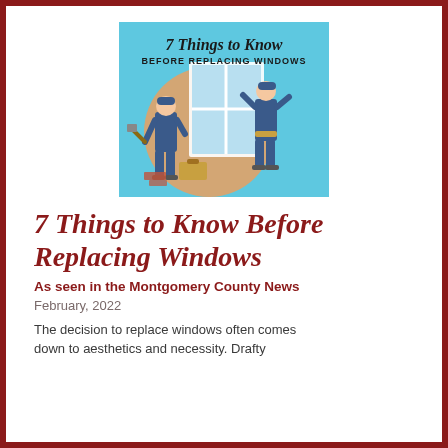[Figure (illustration): Illustrated image showing two workers in overalls replacing a large window panel. Text at top reads '7 Things to Know' in script and 'BEFORE REPLACING WINDOWS' in bold. Cyan/light blue background with orange circle accent.]
7 Things to Know Before Replacing Windows
As seen in the Montgomery County News
February, 2022
The decision to replace windows often comes down to aesthetics and necessity. Drafty